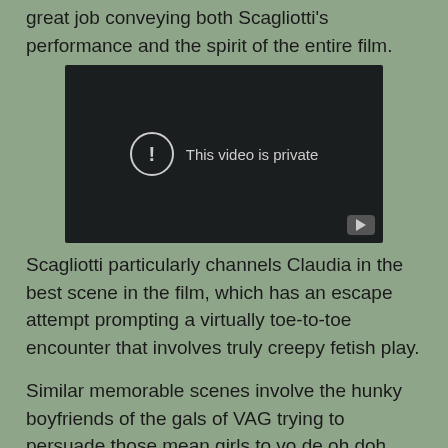great job conveying both Scagliotti's performance and the spirit of the entire film.
[Figure (screenshot): Embedded video player showing 'This video is private' message with a circle exclamation icon and YouTube logo button in the bottom right corner. The video player has a dark/black background.]
Scagliotti particularly channels Claudia in the best scene in the film, which has an escape attempt prompting a virtually toe-to-toe encounter that involves truly creepy fetish play.
Similar memorable scenes involve the hunky boyfriends of the gals of VAG trying to persuade those mean girls to vo de oh doh.
The boys' arguments that denying them could cause physical injury and worse seem old as time, and one Heather's